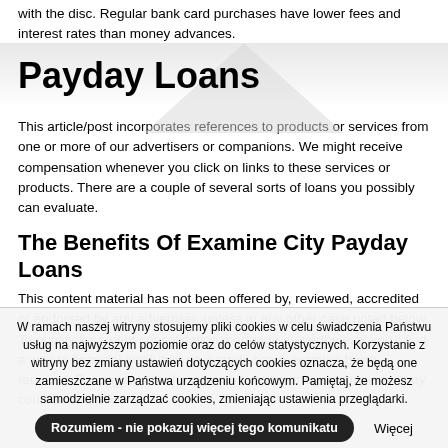with the disc. Regular bank card purchases have lower fees and interest rates than money advances.
Payday Loans
This article/post incorporates references to products or services from one or more of our advertisers or companions. We might receive compensation whenever you click on links to these services or products. There are a couple of several sorts of loans you possibly can evaluate.
The Benefits Of Examine City Payday Loans
This content material has not been offered by, reviewed, accredited or endorsed by any advertiser, unless in any other case noted below. To qualify for a debt consolidation mortgage, nevertheless, you'll find a way to financial institution on a credit score examine being required. For payday relief programs / debt management plans, they could or could not
W ramach naszej witryny stosujemy pliki cookies w celu świadczenia Państwu usług na najwyższym poziomie oraz do celów statystycznych. Korzystanie z witryny bez zmiany ustawień dotyczących cookies oznacza, że będą one zamieszczane w Państwa urządzeniu końcowym. Pamiętaj, że możesz samodzielnie zarządzać cookies, zmieniając ustawienia przeglądarki. Rozumiem - nie pokazuj więcej tego komunikatu  Więcej